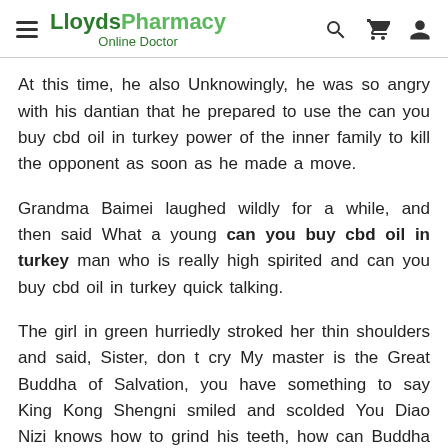LloydsPharmacy Online Doctor
At this time, he also Unknowingly, he was so angry with his dantian that he prepared to use the can you buy cbd oil in turkey power of the inner family to kill the opponent as soon as he made a move.
Grandma Baimei laughed wildly for a while, and then said What a young can you buy cbd oil in turkey man who is really high spirited and can you buy cbd oil in turkey quick talking.
The girl in green hurriedly stroked her thin shoulders and said, Sister, don t cry My master is the Great Buddha of Salvation, you have something to say King Kong Shengni smiled and scolded You Diao Nizi knows how to grind his teeth, how can Buddha be made by humans Xiao Chujun twitched for a while, can you buy